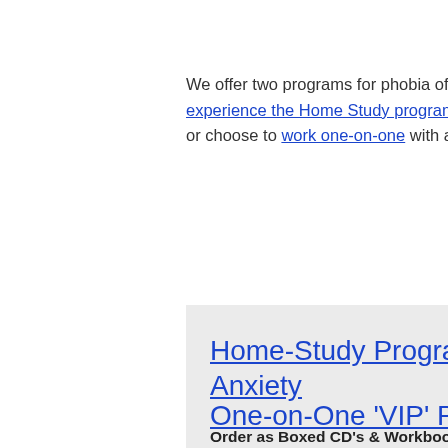We offer two programs for phobia of sticky peanut butter. You ca... experience the Home Study program (going at your own pace o... or choose to work one-on-one with a highly-qualified practitioner...
Home-Study Program: Vanquish... Anxiety
Order as Boxed CD's & Workbook or Download the P... Now
• Start Immediately by Downloading Now
• Work Privately on Your Own Time
One-on-One 'VIP' Program